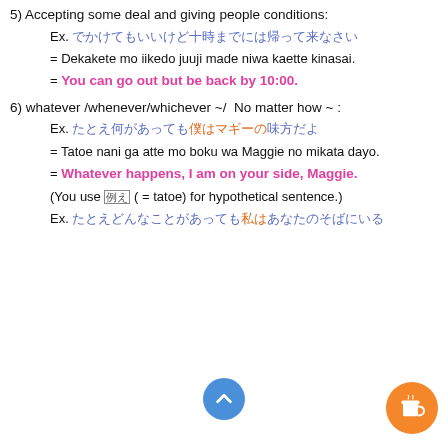5) Accepting some deal and giving people conditions:
Ex. [Japanese text in blue/orange]
= Dekakete mo iikedo juuji made niwa kaette kinasai.
= You can go out but be back by 10:00.
6) whatever /whenever/whichever ~/  No matter how ~ :
Ex. [Japanese text in blue/orange]
= Tatoe nani ga atte mo boku wa Maggie no mikata dayo.
= Whatever happens, I am on your side, Maggie.
(You use 例え ( = tatoe) for hypothetical sentence.)
Ex. [Japanese text in blue/orange]